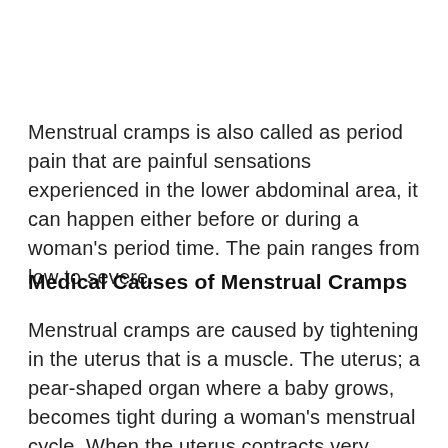Menstrual cramps is also called as period pain that are painful sensations experienced in the lower abdominal area, it can happen either before or during a woman's period time. The pain ranges from low to severe.
Medical Causes of Menstrual Cramps
Menstrual cramps are caused by tightening in the uterus that is a muscle. The uterus; a pear-shaped organ where a baby grows, becomes tight during a woman's menstrual cycle. When the uterus contracts very strongly, it can compress against close by blood vessels, cutting off the flow of